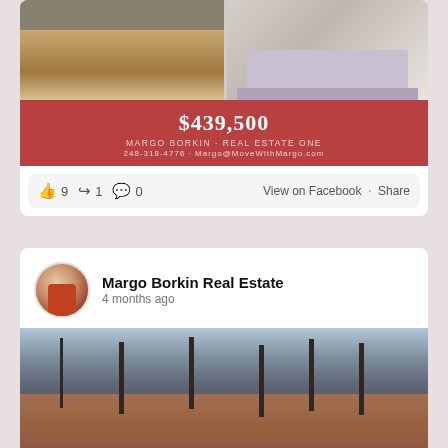[Figure (photo): Two property interior photos: kitchen on left, bedroom on right]
$439,500
MARGO BORKIN · REAL ESTATE ONE
248-318-4776 · MARGO@MOVEWITHMARGO.COM
👍 9  ↪ 1  💬 0    View on Facebook · Share
Margo Borkin Real Estate
4 months ago
[Figure (photo): Exterior photo of a two-story brick house with bare trees in winter]